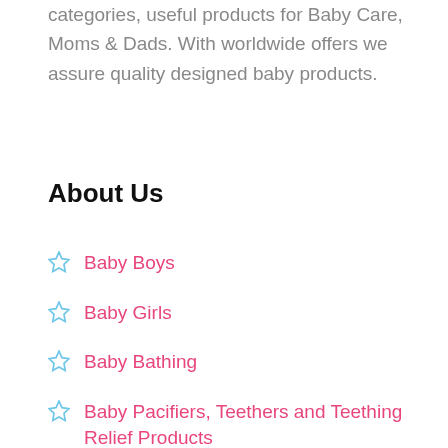categories, useful products for Baby Care, Moms & Dads. With worldwide offers we assure quality designed baby products.
About Us
Baby Boys
Baby Girls
Baby Bathing
Baby Pacifiers, Teethers and Teething Relief Products
Potties and Seats
Training Pants